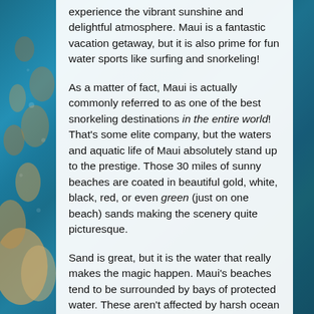[Figure (photo): Underwater ocean background showing coral reef and blue water, visible on the left side and right edge of the page.]
experience the vibrant sunshine and delightful atmosphere. Maui is a fantastic vacation getaway, but it is also prime for fun water sports like surfing and snorkeling!
As a matter of fact, Maui is actually commonly referred to as one of the best snorkeling destinations in the entire world! That's some elite company, but the waters and aquatic life of Maui absolutely stand up to the prestige. Those 30 miles of sunny beaches are coated in beautiful gold, white, black, red, or even green (just on one beach) sands making the scenery quite picturesque.
Sand is great, but it is the water that really makes the magic happen. Maui's beaches tend to be surrounded by bays of protected water. These aren't affected by harsh ocean waves, which creates a nice calm body of water. Because this water is fairly undisturbed, flashy fish flock to these waters. This also makes the water